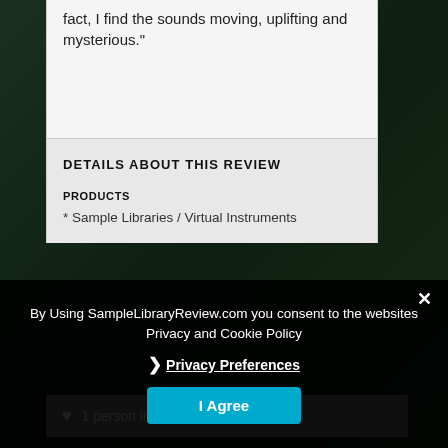fact, I find the sounds moving, uplifting and mysterious."
DETAILS ABOUT THIS REVIEW
PRODUCTS
* Sample Libraries / Virtual Instruments
1 person likes this
By Using SampleLibraryReview.com you consent to the websites Privacy and Cookie Policy
Privacy Preferences
I Agree